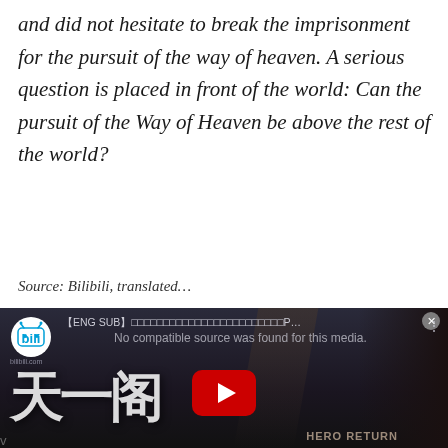and did not hesitate to break the imprisonment for the pursuit of the way of heaven. A serious question is placed in front of the world: Can the pursuit of the Way of Heaven be above the rest of the world?
Source: Bilibili, translated…
[Figure (screenshot): Embedded video player screenshot showing a Bilibili/YouTube video with Chinese characters (天一阁) and 'HERO RETURN' text, with a YouTube play button overlay and 'No compatible source was found for this media.' message. Title bar shows '[ENG SUB]...' with Bilibili logo.]